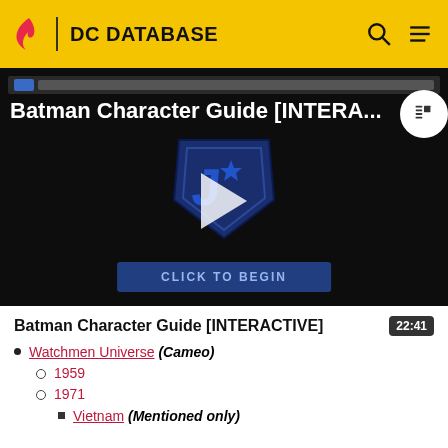DC DATABASE
[Figure (screenshot): Video thumbnail for Batman Character Guide [INTERACTIVE] showing a dark background with Justice League shield logo and play button, with a 'CLICK TO BEGIN' button at the bottom]
Batman Character Guide [INTERACTIVE]
22:41
Watchmen Universe (Cameo)
1959
1971
Vietnam (Mentioned only)